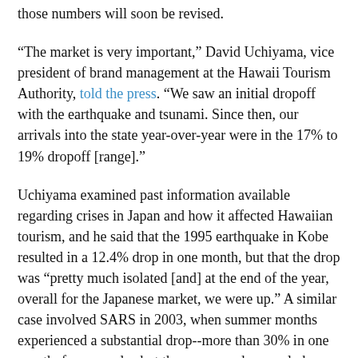those numbers will soon be revised.
“The market is very important,” David Uchiyama, vice president of brand management at the Hawaii Tourism Authority, told the press. “We saw an initial dropoff with the earthquake and tsunami. Since then, our arrivals into the state year-over-year were in the 17% to 19% dropoff [range].”
Uchiyama examined past information available regarding crises in Japan and how it affected Hawaiian tourism, and he said that the 1995 earthquake in Kobe resulted in a 12.4% drop in one month, but that the drop was “pretty much isolated [and] at the end of the year, overall for the Japanese market, we were up.” A similar case involved SARS in 2003, when summer months experienced a substantial drop--more than 30% in one month, for example--but the year was down only by 9.6%.
How will Hawaiian tourism fare in light of recent world changes? What about U.S. tourism in general? While we’re waiting for updated numbers, we might as well donate.